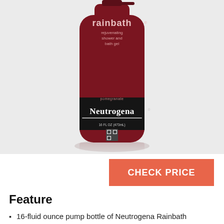[Figure (photo): Neutrogena Rainbath Rejuvenating Shower and Bath Gel in Pomegranate scent, 16 FL OZ (473mL) bottle, dark red/maroon pump bottle with Neutrogena branding on a light gray background with reflection below]
CHECK PRICE
Feature
16-fluid ounce pump bottle of Neutrogena Rainbath Rejuvenating Pomegranate Shower and Bath Gel featuring a fresh Pomegranate fragrance